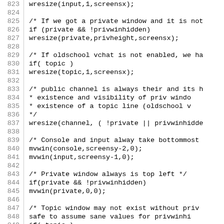Source code listing, lines 823-853
823: wresize(input,1,screensx);
824: (blank)
825: /* If we got a private window and it is not
826: if (private && !privwinhidden)
827:     wresize(private,privheight,screensx);
828: (blank)
829: /* If oldschool vchat is not enabled, we ha
830: if( topic )
831:     wresize(topic,1,screensx);
832: (blank)
833: /* public channel is always their and its h
834:  * existence and visibility of priv windo
835:  * existence of a topic line (oldschool v
836:  */
837: wresize(channel, ( !private || privwinhidde
838: (blank)
839: /* Console and input alway take bottommost
840: mvwin(console,screensy-2,0);
841: mvwin(input,screensy-1,0);
842: (blank)
843: /* Private window always is top left */
844: if(private && !privwinhidden)
845:     mvwin(private,0,0);
846: (blank)
847: /* Topic window may not exist without priv
848:    safe to assume sane values for privwinhi
849: if( topic )
850:     mvwin(topic,privwinhidden ? 0 : privhei
851: (blank)
852: /* chan window starts below private window
853: mvwin(channel, ( !private || privwinhidden